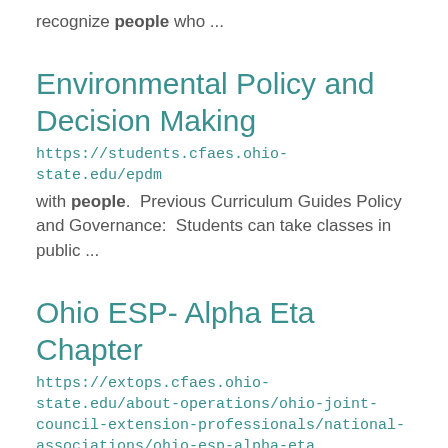recognize people who ...
Environmental Policy and Decision Making
https://students.cfaes.ohio-state.edu/epdm
with people.  Previous Curriculum Guides Policy and Governance:  Students can take classes in public ...
Ohio ESP- Alpha Eta Chapter
https://extops.cfaes.ohio-state.edu/about-operations/ohio-joint-council-extension-professionals/national-associations/ohio-esp-alpha-eta
tenure. He received responses from 350
Extension workers. He stated: "this group